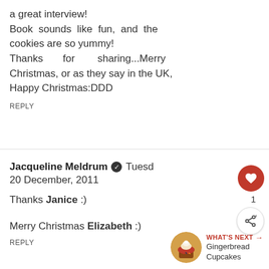a great interview!
Book sounds like fun, and the cookies are so yummy!
Thanks for sharing...Merry Christmas, or as they say in the UK, Happy Christmas:DDD
REPLY
Jacqueline Meldrum [verified] Tuesday 20 December, 2011
Thanks Janice :)

Merry Christmas Elizabeth :)
REPLY
[Figure (other): WHAT'S NEXT arrow label with Gingerbread Cupcakes thumbnail and text]